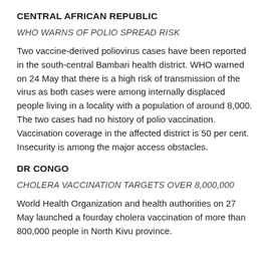CENTRAL AFRICAN REPUBLIC
WHO WARNS OF POLIO SPREAD RISK
Two vaccine-derived poliovirus cases have been reported in the south-central Bambari health district. WHO warned on 24 May that there is a high risk of transmission of the virus as both cases were among internally displaced people living in a locality with a population of around 8,000. The two cases had no history of polio vaccination. Vaccination coverage in the affected district is 50 per cent. Insecurity is among the major access obstacles.
DR CONGO
CHOLERA VACCINATION TARGETS OVER 8,000,000
World Health Organization and health authorities on 27 May launched a fourday cholera vaccination of more than 800,000 people in North Kivu province.